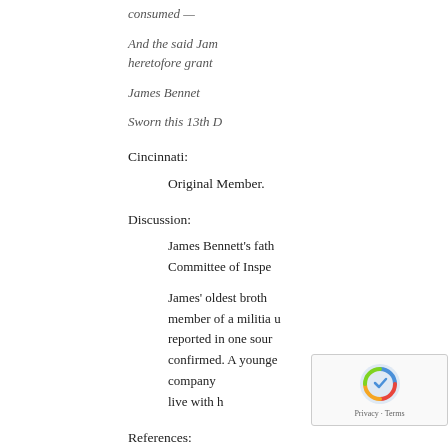consumed —
And the said Jam... heretofore grant...
James Bennet
Sworn this 13th D...
Cincinnati:
Original Member.
Discussion:
James Bennett's fath... Committee of Inspe...
James' oldest broth... member of a militia u... reported in one sour... confirmed. A younge... company... live with h...
References: